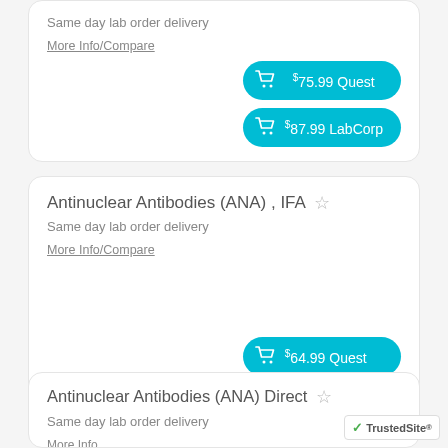Same day lab order delivery
More Info/Compare
$75.99 Quest
$87.99 LabCorp
Antinuclear Antibodies (ANA) , IFA
Same day lab order delivery
More Info/Compare
$64.99 Quest
$69.99 LabCorp
Antinuclear Antibodies (ANA) Direct
Same day lab order delivery
More Info